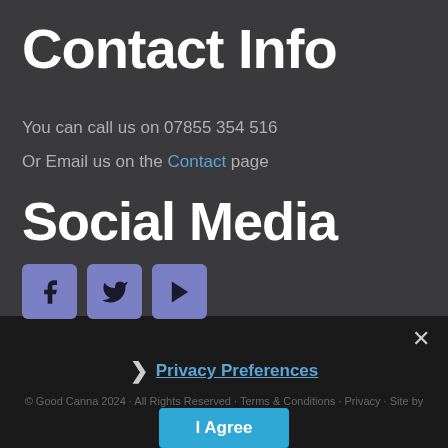Contact Info
You can call us on 07855 354 516
Or Email us on the Contact page
Social Media
[Figure (infographic): Three social media icon buttons: Facebook (f), Twitter (bird), YouTube (play triangle), each in a purple-blue rounded square]
× ❯ Privacy Preferences I Agree © Good Canna 2024 · All Rights Reserved · Terms & Conditions · Privacy · Site by JamesBa...